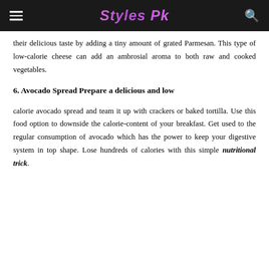Styles Pk
their delicious taste by adding a tiny amount of grated Parmesan. This type of low-calorie cheese can add an ambrosial aroma to both raw and cooked vegetables.
6. Avocado Spread Prepare a delicious and low
calorie avocado spread and team it up with crackers or baked tortilla. Use this food option to downside the calorie-content of your breakfast. Get used to the regular consumption of avocado which has the power to keep your digestive system in top shape. Lose hundreds of calories with this simple nutritional trick.